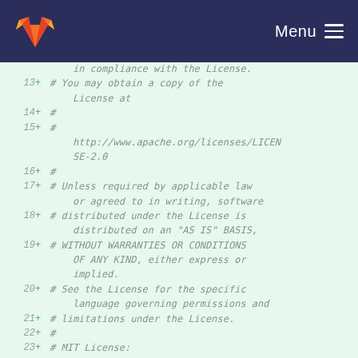Menu
in compliance with the License.
13 + # You may obtain a copy of the License at
14 + #
15 + # http://www.apache.org/licenses/LICENSE-2.0
16 + #
17 + # Unless required by applicable law or agreed to in writing, software
18 + # distributed under the License is distributed on an "AS IS" BASIS,
19 + # WITHOUT WARRANTIES OR CONDITIONS OF ANY KIND, either express or implied.
20 + # See the License for the specific language governing permissions and
21 + # limitations under the License.
22 + #
23 + # MIT License: